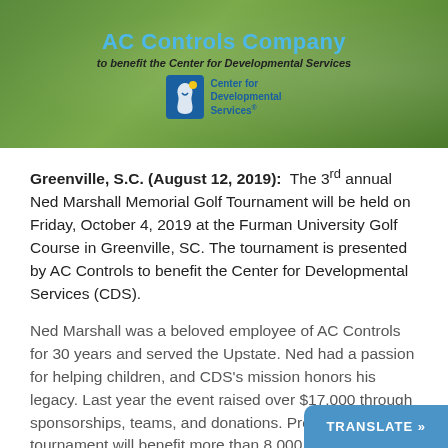[Figure (illustration): Banner image showing AC Controls Company golf tournament header with green grass background, title in blue text, subtitle 'to benefit the Center for Developmental Services', and Center for Developmental Services logo with blue icon and text.]
Greenville, S.C. (August 12, 2019): The 3rd annual Ned Marshall Memorial Golf Tournament will be held on Friday, October 4, 2019 at the Furman University Golf Course in Greenville, SC. The tournament is presented by AC Controls to benefit the Center for Developmental Services (CDS).
Ned Marshall was a beloved employee of AC Controls for 30 years and served the Upstate. Ned had a passion for helping children, and CDS's mission honors his legacy. Last year the event raised over $17,000 through sponsorships, teams, and donations. Proceeds from the tournament will benefit more than 8,000 children with developmental delays and disabilities who receive services at CDS each year.